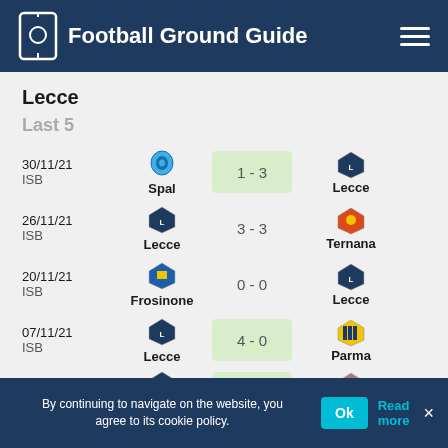Football Ground Guide
Lecce
Last 5
| Date/Comp | Home Team | Score | Away Team |
| --- | --- | --- | --- |
| 30/11/21 ISB | Spal | 1 - 3 | Lecce |
| 26/11/21 ISB | Lecce | 3 - 3 | Ternana |
| 20/11/21 ISB | Frosinone | 0 - 0 | Lecce |
| 07/11/21 ISB | Lecce | 4 - 0 | Parma |
| 01/11/21 ISB | Lecce | 3 - 1 | Cosenza |
By continuing to navigate on the website, you agree to its cookie policy.